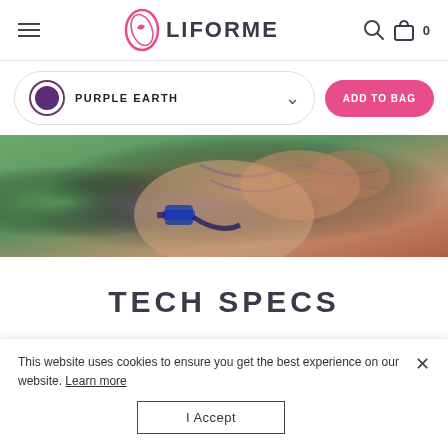LIFORME navigation bar with hamburger menu, logo, search and bag icons (0)
PURPLE EARTH — color selector dropdown with ADD TO BAG button
[Figure (photo): Close-up photograph of a tattooed arm/shoulder of a shirtless person wearing a blue digital watch, outdoors with green foliage in background]
TECH SPECS
This website uses cookies to ensure you get the best experience on our website. Learn more
I Accept